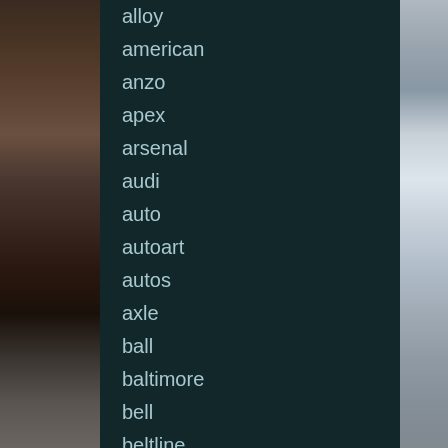alloy
american
anzo
apex
arsenal
audi
auto
autoart
autos
axle
ball
baltimore
bell
beltline
black
body
bolt
bought
brand